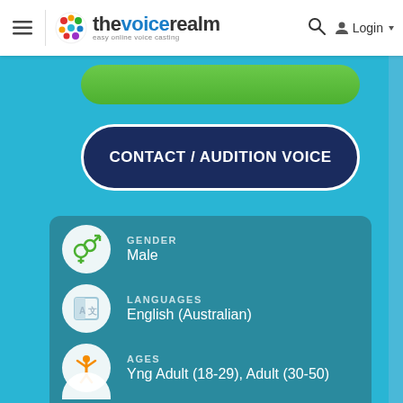thevoicerealm — easy online voice casting — Login
[Figure (screenshot): Green button (partially visible)]
CONTACT / AUDITION VOICE
GENDER
Male
LANGUAGES
English (Australian)
AGES
Yng Adult (18-29), Adult (30-50)
TURNAROUND TIME
4 hours